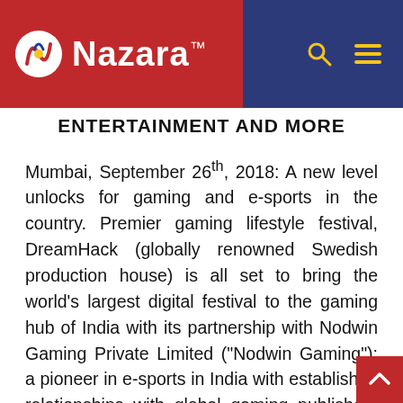Nazara™
ENTERTAINMENT AND MORE
Mumbai, September 26th, 2018: A new level unlocks for gaming and e-sports in the country. Premier gaming lifestyle festival, DreamHack (globally renowned Swedish production house) is all set to bring the world's largest digital festival to the gaming hub of India with its partnership with Nodwin Gaming Private Limited ("Nodwin Gaming"); a pioneer in e-sports in India with established relationships with global gaming publishers and platforms including market leaders such as ESL, the biggest e-sports organizer in the world and Valve Corporation. (Source: Frost &